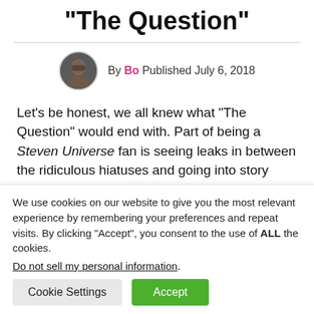“The Question”
By Bo Published July 6, 2018
Let’s be honest, we all knew what “The Question” would end with. Part of being a Steven Universe fan is seeing leaks in between the ridiculous hiatuses and going into story arcs with a general idea of what to expect. A
We use cookies on our website to give you the most relevant experience by remembering your preferences and repeat visits. By clicking “Accept”, you consent to the use of ALL the cookies.
Do not sell my personal information.